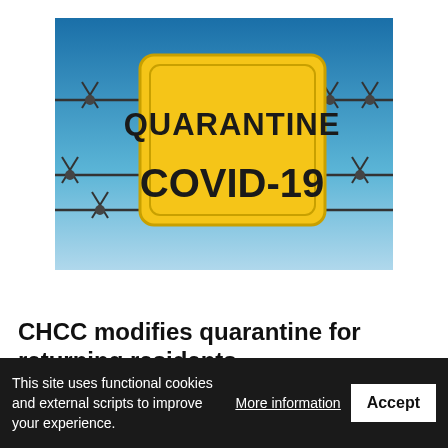[Figure (illustration): Quarantine COVID-19 sign — yellow road sign with black bold text reading 'QUARANTINE' and 'COVID-19', surrounded by barbed wire against a blue gradient sky background.]
CHCC modifies quarantine for returning residents
The Commonwealth Healthcare Corp. is modifying its quarantine protocols for returning residents who plan to home quarantine. In a phone interview with Governor's COVID-19 Task Force chair
This site uses functional cookies and external scripts to improve your experience.
More information
Accept